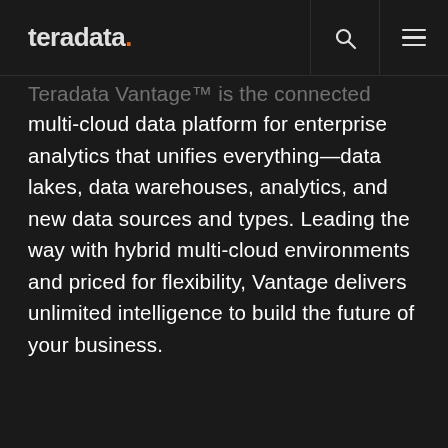teradata.
Teradata Vantage™ is the connected multi-cloud data platform for enterprise analytics that unifies everything—data lakes, data warehouses, analytics, and new data sources and types. Leading the way with hybrid multi-cloud environments and priced for flexibility, Vantage delivers unlimited intelligence to build the future of your business.